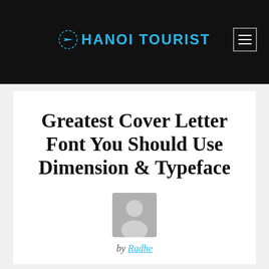HANOI TOURIST
Greatest Cover Letter Font You Should Use Dimension & Typeface
[Figure (illustration): Default user avatar placeholder — grey silhouette of a person on a lighter grey background]
by Radhe